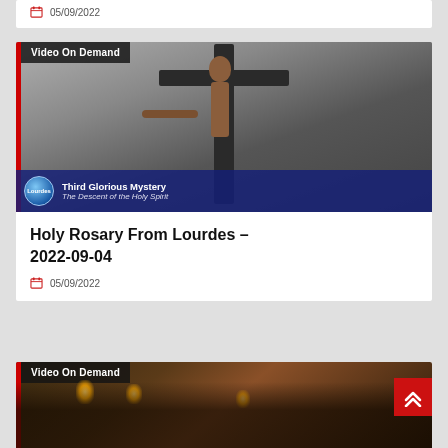05/09/2022
[Figure (photo): Video On Demand thumbnail showing a bronze crucifix figure on a cross against a grey background, with a 'Lourdes' branded overlay strip reading 'Third Glorious Mystery - The Descent of the Holy Spirit']
Holy Rosary From Lourdes – 2022-09-04
05/09/2022
[Figure (photo): Video On Demand thumbnail showing a religious scene with candlelight and figures, partially visible at bottom of page]